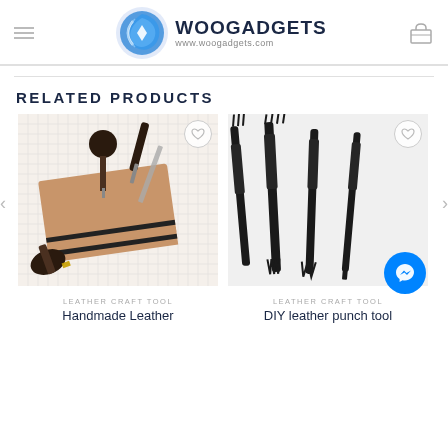WOOGADGETS www.woogadgets.com
RELATED PRODUCTS
[Figure (photo): Leather craft tools including awls, a strop board with leather and black rubber strips on a grid background]
LEATHER CRAFT TOOL
Handmade Leather
[Figure (photo): DIY leather punch tool set — four black metal pricking irons/stitching chisels with fork-like tips on a white background]
LEATHER CRAFT TOOL
DIY leather punch tool